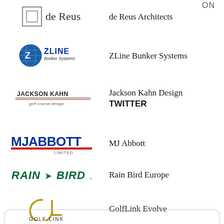[Figure (logo): de Reus Architects logo — square concentric boxes icon with 'de Reus' text in serif font]
de Reus Architects
ON
[Figure (logo): ZLine Bunker Systems logo — blue globe with Z and ZLine Bunker Systems text]
ZLine Bunker Systems
[Figure (logo): Jackson Kahn Golf Course Design logo — stylized text with golf course design subtitle]
Jackson Kahn Design
TWITTER
[Figure (logo): MJ Abbott Limited logo — bold navy blue text underlined with red bar, LIMITED below]
MJ Abbott
[Figure (logo): Rain Bird logo — italic bold green text with arrow bird symbol]
Rain Bird Europe
[Figure (logo): Golf Link logo — gold GL monogram with GOLF LINK text below]
GolfLink Evolve